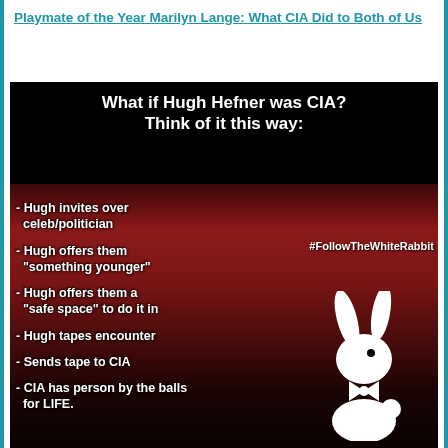Playmate of the Year Marilyn Lange: What CIA Did to Both of Us
[Figure (infographic): Dark meme-style infographic on black background with photo of an older man in red smoking jacket. Text overlay reads: 'What if Hugh Hefner was CIA? Think of it this way:' followed by bullet points: '- Hugh invites over celeb/politician', '- Hugh offers them "something younger"', '- Hugh offers them a "safe space" to do it in', '- Hugh tapes encounter', '- Sends tape to CIA', '- CIA has person by the balls for LIFE.' Also includes '#FollowTheWhiteRabbit' hashtag and a white Playboy bunny logo in the bottom right.]